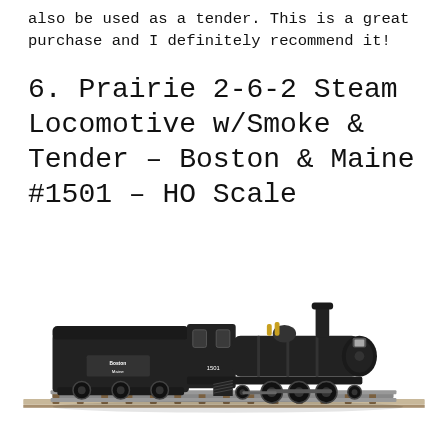also be used as a tender. This is a great purchase and I definitely recommend it!
6. Prairie 2-6-2 Steam Locomotive w/Smoke & Tender – Boston & Maine #1501 – HO Scale
[Figure (photo): Photo of a black Prairie 2-6-2 steam locomotive model with tender on HO scale track. The tender reads 'Boston & Maine' and the locomotive is numbered 1501.]